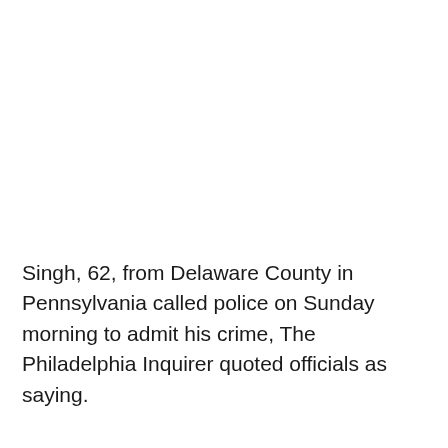Singh, 62, from Delaware County in Pennsylvania called police on Sunday morning to admit his crime, The Philadelphia Inquirer quoted officials as saying.